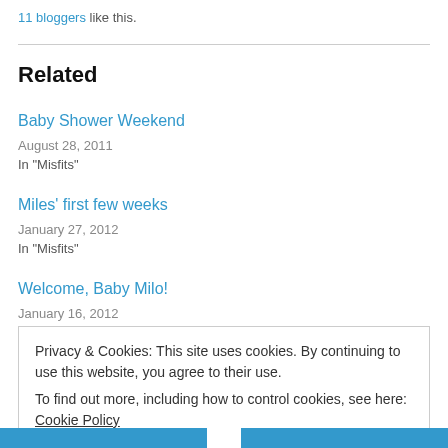11 bloggers like this.
Related
Baby Shower Weekend
August 28, 2011
In "Misfits"
Miles' first few weeks
January 27, 2012
In "Misfits"
Welcome, Baby Milo!
January 16, 2012
Privacy & Cookies: This site uses cookies. By continuing to use this website, you agree to their use.
To find out more, including how to control cookies, see here: Cookie Policy